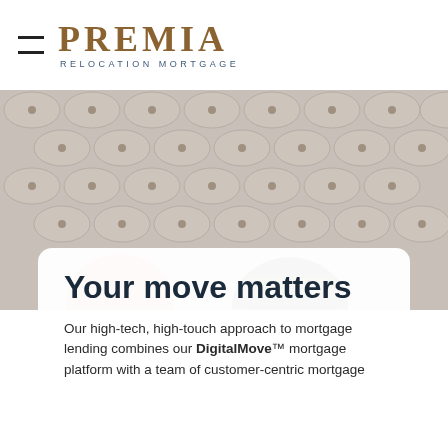PREMIA RELOCATION MORTGAGE
[Figure (photo): Two people lying on a tufted grey upholstered headboard/fabric surface, viewed from above, their heads visible at the bottom of the frame.]
Your move matters
Our high-tech, high-touch approach to mortgage lending combines our DigitalMove™ mortgage platform with a team of customer-centric mortgage